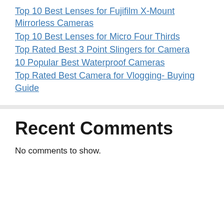Top 10 Best Lenses for Fujifilm X-Mount Mirrorless Cameras
Top 10 Best Lenses for Micro Four Thirds
Top Rated Best 3 Point Slingers for Camera
10 Popular Best Waterproof Cameras
Top Rated Best Camera for Vlogging- Buying Guide
Recent Comments
No comments to show.